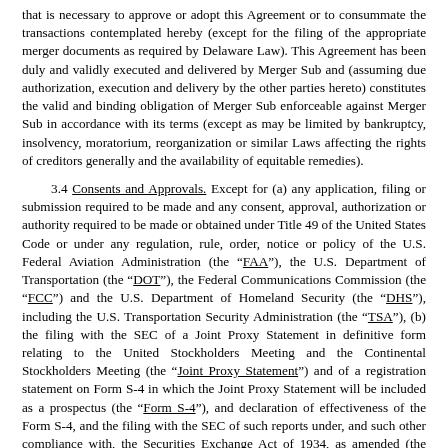that is necessary to approve or adopt this Agreement or to consummate the transactions contemplated hereby (except for the filing of the appropriate merger documents as required by Delaware Law). This Agreement has been duly and validly executed and delivered by Merger Sub and (assuming due authorization, execution and delivery by the other parties hereto) constitutes the valid and binding obligation of Merger Sub enforceable against Merger Sub in accordance with its terms (except as may be limited by bankruptcy, insolvency, moratorium, reorganization or similar Laws affecting the rights of creditors generally and the availability of equitable remedies).
3.4 Consents and Approvals. Except for (a) any application, filing or submission required to be made and any consent, approval, authorization or authority required to be made or obtained under Title 49 of the United States Code or under any regulation, rule, order, notice or policy of the U.S. Federal Aviation Administration (the "FAA"), the U.S. Department of Transportation (the "DOT"), the Federal Communications Commission (the "FCC") and the U.S. Department of Homeland Security (the "DHS"), including the U.S. Transportation Security Administration (the "TSA"), (b) the filing with the SEC of a Joint Proxy Statement in definitive form relating to the United Stockholders Meeting and the Continental Stockholders Meeting (the "Joint Proxy Statement") and of a registration statement on Form S-4 in which the Joint Proxy Statement will be included as a prospectus (the "Form S-4"), and declaration of effectiveness of the Form S-4, and the filing with the SEC of such reports under, and such other compliance with, the Securities Exchange Act of 1934, as amended (the "Exchange Act"), and the Securities Act and the rules and regulations thereunder, (c) the filing of the Merger Certificate and the Restated Charter with the Delaware Secretary of State pursuant to Delaware Law and with the relevant authorities in other jurisdictions in which United is qualified to do business, (d) any notices or